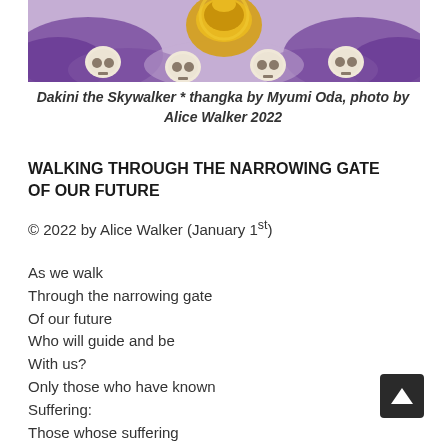[Figure (illustration): Cropped top portion of a thangka painting showing a deity figure surrounded by skulls and purple cloud motifs in a traditional Tibetan Buddhist art style]
Dakini the Skywalker * thangka by Myumi Oda, photo by Alice Walker 2022
WALKING THROUGH THE NARROWING GATE OF OUR FUTURE
© 2022 by Alice Walker (January 1st)
As we walk
Through the narrowing gate
Of our future
Who will guide and be
With us?
Only those who have known
Suffering:
Those whose suffering
Taught them
To care.
And so, here is a list
Of worthy